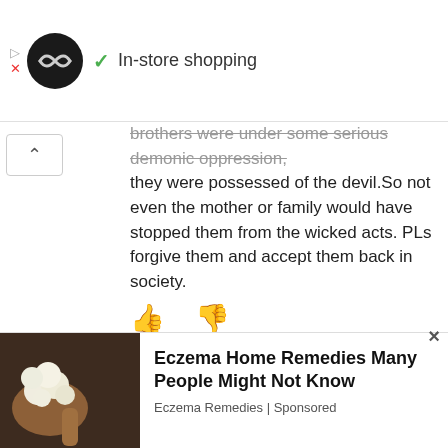[Figure (screenshot): Advertisement bar with circular logo, play button, infinity icon, checkmark and 'In-store shopping' text]
brothers were under some serious demonic oppression, they were possessed of the devil.So not even the mother or family would have stopped them from the wicked acts. PLs forgive them and accept them back in society.
[Figure (other): Thumbs up and thumbs down icons in blue]
13 ZP ( Zabwino Palibe)
June 27, 2013 At 11:32 am
Dont put words in her mouth to justify your
[Figure (other): Eczema Home Remedies Many People Might Not Know - Eczema Remedies Sponsored ad with food image]